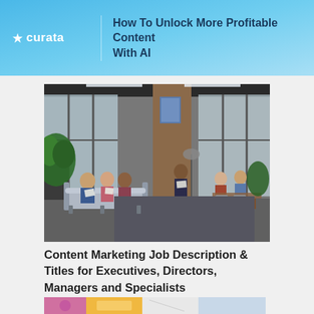How To Unlock More Profitable Content With AI
[Figure (photo): Office scene showing a group of people sitting on a couch reviewing papers while another person stands holding a document and others sit at a table in the background, in a modern industrial-style office with large windows and plants]
Content Marketing Job Description & Titles for Executives, Directors, Managers and Specialists
[Figure (photo): Partial view of a colorful image at the bottom of the page, partially cropped]